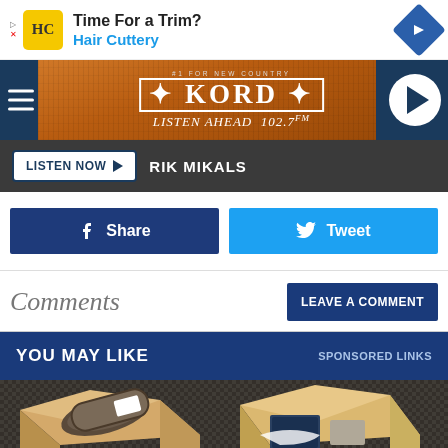[Figure (screenshot): Hair Cuttery advertisement banner with logo, text 'Time For a Trim?' and 'Hair Cuttery', with a blue diamond arrow icon]
[Figure (logo): KORD 102.7 FM radio station header with orange wood-texture background, hamburger menu, KORD logo and play button]
LISTEN NOW  RIK MIKALS
Share
Tweet
Comments
LEAVE A COMMENT
YOU MAY LIKE
SPONSORED LINKS
[Figure (photo): Subscription boxes with products including a rolled textile/rug, packaging materials, and other items on a dark woven surface]